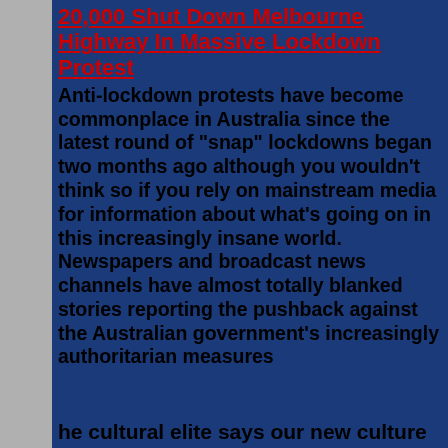20,000 Shut Down Melbourne Highway In Massive Lockdown Protest
Anti-lockdown protests have become commonplace in Australia since the latest round of "snap" lockdowns began two months ago although you wouldn't think so if you rely on mainstream media for information about what's going on in this increasingly insane world. Newspapers and broadcast news channels have almost totally blanked stories reporting the pushback against the Australian government's increasingly authoritarian measures
he cultural elite says our new culture